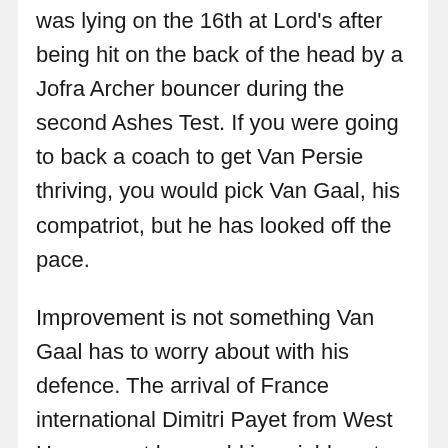was lying on the 16th at Lord's after being hit on the back of the head by a Jofra Archer bouncer during the second Ashes Test. If you were going to back a coach to get Van Persie thriving, you would pick Van Gaal, his compatriot, but he has looked off the pace.
Improvement is not something Van Gaal has to worry about with his defence. The arrival of France international Dimitri Payet from West Ham meant he would invariably get less playing time. Zozulya who was in Ukraine's squad at the European Championship in France last year. Crowds numbering 750,000 greeted the victorious Liverpool players as they paraded the European Cup on an open-top bus parade through the city on June 8. L...